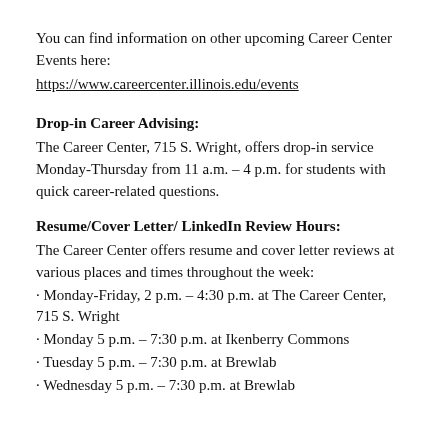You can find information on other upcoming Career Center Events here:
https://www.careercenter.illinois.edu/events
Drop-in Career Advising:
The Career Center, 715 S. Wright, offers drop-in service Monday-Thursday from 11 a.m. – 4 p.m. for students with quick career-related questions.
Resume/Cover Letter/ LinkedIn Review Hours:
The Career Center offers resume and cover letter reviews at various places and times throughout the week:
· Monday-Friday, 2 p.m. – 4:30 p.m. at The Career Center, 715 S. Wright
· Monday 5 p.m. – 7:30 p.m. at Ikenberry Commons
· Tuesday 5 p.m. – 7:30 p.m. at Brewlab
· Wednesday 5 p.m. – 7:30 p.m. at Brewlab